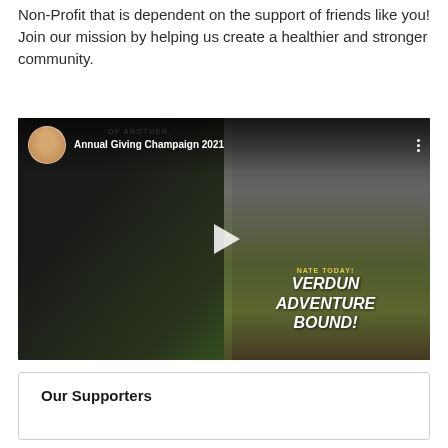Non-Profit that is dependent on the support of friends like you! Join our mission by helping us create a healthier and stronger community.
[Figure (screenshot): YouTube-style video thumbnail showing 'Annual Giving Champaign 2021' with a circular avatar of a woman, a play button, and overlaid text reading 'VERDUN ADVENTURE BOUND!' on a dark composite background.]
Our Supporters